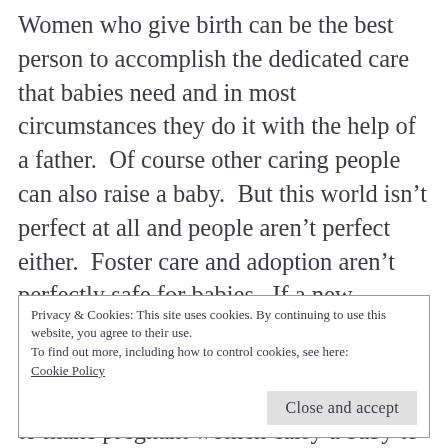Women who give birth can be the best person to accomplish the dedicated care that babies need and in most circumstances they do it with the help of a father.  Of course other caring people can also raise a baby.  But this world isn't perfect at all and people aren't perfect either.  Foster care and adoption aren't perfectly safe for babies.  If a new technology could supply an artificial uterus to grow a baby, would it change the argument?  Would people stop trying to make pregnant women carry a baby to term and then raise that child in adverse
Privacy & Cookies: This site uses cookies. By continuing to use this website, you agree to their use.
To find out more, including how to control cookies, see here: Cookie Policy
Close and accept